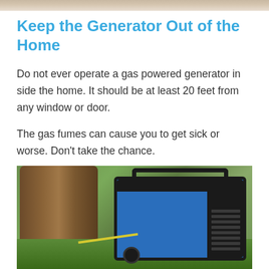[Figure (photo): Partial view of an image strip at the top of the page, faded background]
Keep the Generator Out of the Home
Do not ever operate a gas powered generator in side the home. It should be at least 20 feet from any window or door.
The gas fumes can cause you to get sick or worse. Don’t take the chance.
[Figure (photo): Photo of a blue portable gas generator sitting outdoors on grass next to a tree trunk]